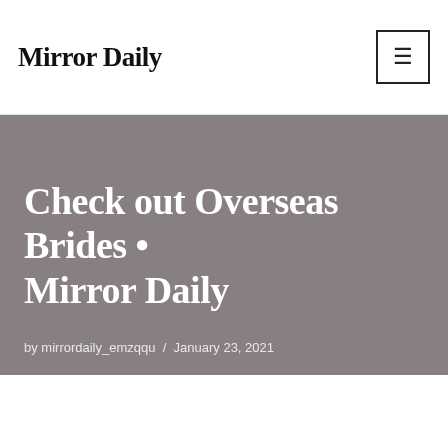Mirror Daily
Check out Overseas Brides • Mirror Daily
by mirrordaily_emzqqu / January 23, 2021